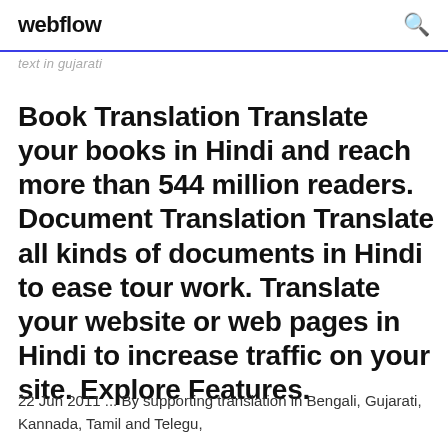webflow
text in gujarati
Book Translation Translate your books in Hindi and reach more than 544 million readers. Document Translation Translate all kinds of documents in Hindi to ease tour work. Translate your website or web pages in Hindi to increase traffic on your site. Explore Features.
22 Jun 2011 ... By supporting translation in Bengali, Gujarati, Kannada, Tamil and Telegu,